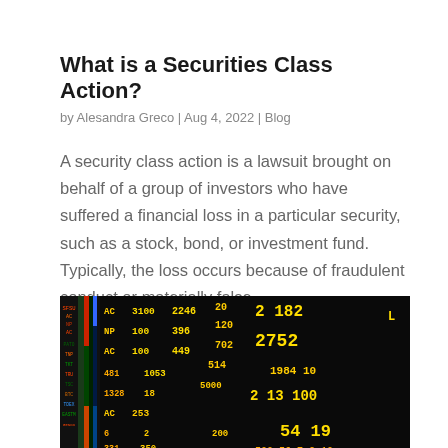What is a Securities Class Action?
by Alesandra Greco | Aug 4, 2022 | Blog
A security class action is a lawsuit brought on behalf of a group of investors who have suffered a financial loss in a particular security, such as a stock, bond, or investment fund. Typically, the loss occurs because of fraudulent conduct or materially false...
[Figure (photo): Stock market ticker board showing various stock numbers and prices in yellow and orange digits on a black background, with colored stock ticker columns on the left side.]